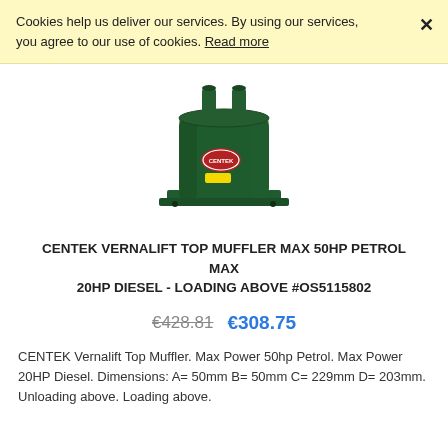Cookies help us deliver our services. By using our services, you agree to our use of cookies. Read more
[Figure (photo): Green cylindrical marine exhaust muffler (Centek Vernalift Top Muffler) with two top inlet/outlet ports and a flat mounting base, green painted metal body with a red oval logo label and a yellow sticker.]
CENTEK VERNALIFT TOP MUFFLER MAX 50HP PETROL MAX 20HP DIESEL - LOADING ABOVE #OS5115802
€428.81  €308.75
CENTEK Vernalift Top Muffler. Max Power 50hp Petrol. Max Power 20HP Diesel. Dimensions: A= 50mm B= 50mm C= 229mm D= 203mm. Unloading above. Loading above.